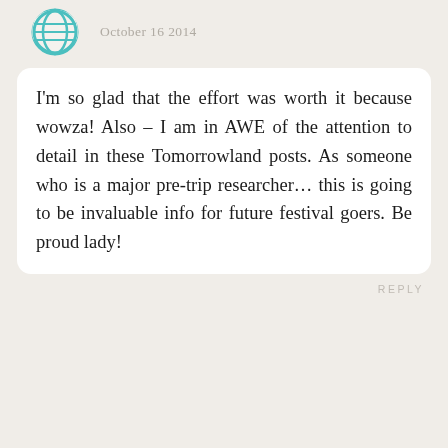[Figure (logo): Teal globe/grid icon (website/anonymous commenter avatar)]
October 16 2014
I'm so glad that the effort was worth it because wowza! Also – I am in AWE of the attention to detail in these Tomorrowland posts. As someone who is a major pre-trip researcher… this is going to be invaluable info for future festival goers. Be proud lady!
REPLY
[Figure (photo): Circular photo of Alex, a blonde woman]
Alex
October 17 2014
Thank you so much Whitney, that means a lot! These kinds of posts are a bit labor-intensive but tell...